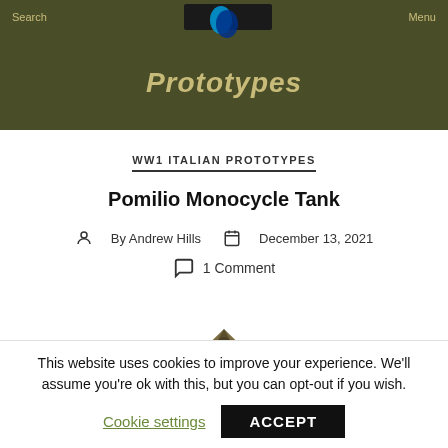Search  Prototypes  Menu
WW1 ITALIAN PROTOTYPES
Pomilio Monocycle Tank
By Andrew Hills  December 13, 2021
1 Comment
[Figure (photo): Partial top view of what appears to be a monocycle tank illustration]
This website uses cookies to improve your experience. We'll assume you're ok with this, but you can opt-out if you wish.
Cookie settings  ACCEPT